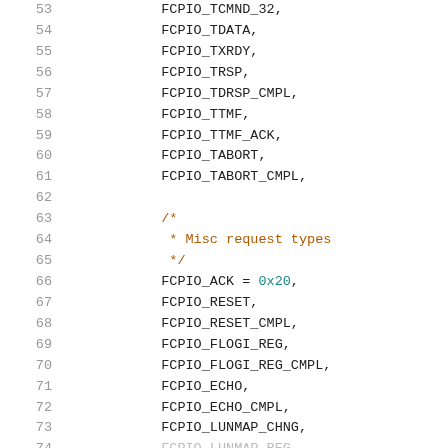Source code listing showing enum values: lines 53-73 of FCPIO type definitions
53    FCPIO_TCMND_32,
54    FCPIO_TDATA,
55    FCPIO_TXRDY,
56    FCPIO_TRSP,
57    FCPIO_TDRSP_CMPL,
58    FCPIO_TTMF,
59    FCPIO_TTMF_ACK,
60    FCPIO_TABORT,
61    FCPIO_TABORT_CMPL,
62    (blank)
63    /*
64     * Misc request types
65     */
66    FCPIO_ACK = 0x20,
67    FCPIO_RESET,
68    FCPIO_RESET_CMPL,
69    FCPIO_FLOGI_REG,
70    FCPIO_FLOGI_REG_CMPL,
71    FCPIO_ECHO,
72    FCPIO_ECHO_CMPL,
73    FCPIO_LUNMAP_CHNG,